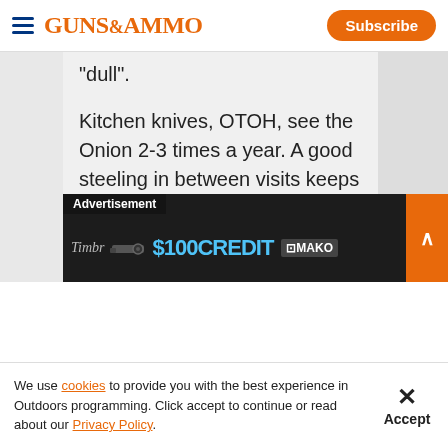Guns & Ammo — Subscribe
"dull".
Kitchen knives, OTOH, see the Onion 2-3 times a year. A good steeling in between visits keeps them in good shape.
Like Gunnut, I'm rarely content with the factory bevel ... I bought a
[Figure (screenshot): Advertisement banner: $100 Credit MAKO promotion with close and expand buttons]
We use cookies to provide you with the best experience in Outdoors programming. Click accept to continue or read about our Privacy Policy.